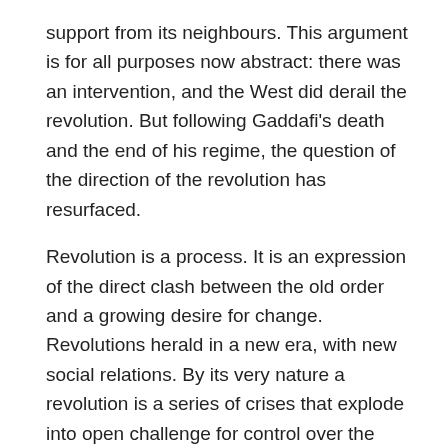support from its neighbours. This argument is for all purposes now abstract: there was an intervention, and the West did derail the revolution. But following Gaddafi's death and the end of his regime, the question of the direction of the revolution has resurfaced.
Revolution is a process. It is an expression of the direct clash between the old order and a growing desire for change. Revolutions herald in a new era, with new social relations. By its very nature a revolution is a series of crises that explode into open challenge for control over the streets, the factory, office and school, over the economy and resources. In the process of revolution millions are thrown into activity that shapes and changes the world around them, and in so doing raises their consciousness. This process was in play in the early